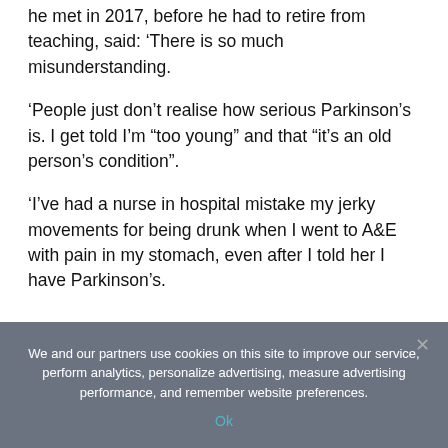he met in 2017, before he had to retire from teaching, said: ‘There is so much misunderstanding.
‘People just don’t realise how serious Parkinson’s is. I get told I’m “too young” and that “it’s an old person’s condition”.
‘I’ve had a nurse in hospital mistake my jerky movements for being drunk when I went to A&E with pain in my stomach, even after I told her I have Parkinson’s.
We and our partners use cookies on this site to improve our service, perform analytics, personalize advertising, measure advertising performance, and remember website preferences.
Ok